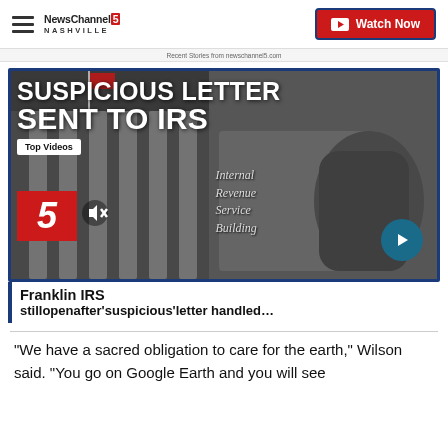NewsChannel 5 Nashville | Watch Now
Recent Stories from newschannel5.com
[Figure (screenshot): News video thumbnail showing IRS building with text overlay 'SUSPICIOUS LETTER SENT TO IRS', with Top Videos badge, Channel 5 logo, mute icon, and play arrow button. Shows Internal Revenue Service Building sign.]
Franklin IRS still open after 'suspicious' letter handled…
"We have a sacred obligation to care for the earth," Wilson said. "You go on Google Earth and you will see